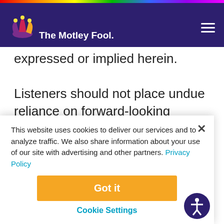The Motley Fool
expressed or implied herein.
Listeners should not place undue reliance on forward-looking statements and are encouraged to review CareTrust SEC filings for a more
This website uses cookies to deliver our services and to analyze traffic. We also share information about your use of our site with advertising and other partners. Privacy Policy
Got it
Cookie Settings